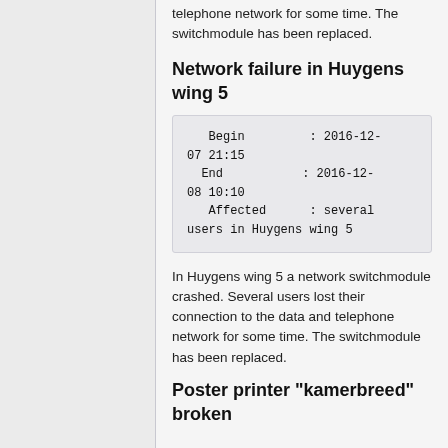telephone network for some time. The switchmodule has been replaced.
Network failure in Huygens wing 5
| Begin | : 2016-12-07 21:15 |
| End | : 2016-12-08 10:10 |
| Affected | : several users in Huygens wing 5 |
In Huygens wing 5 a network switchmodule crashed. Several users lost their connection to the data and telephone network for some time. The switchmodule has been replaced.
Poster printer "kamerbreed" broken